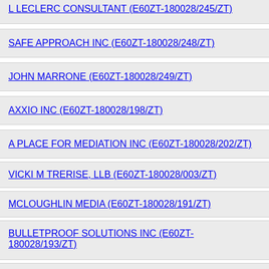L LECLERC CONSULTANT (E60ZT-180028/245/ZT)
SAFE APPROACH INC (E60ZT-180028/248/ZT)
JOHN MARRONE (E60ZT-180028/249/ZT)
AXXIO INC (E60ZT-180028/198/ZT)
A PLACE FOR MEDIATION INC (E60ZT-180028/202/ZT)
VICKI M TRERISE, LLB (E60ZT-180028/003/ZT)
MCLOUGHLIN MEDIA (E60ZT-180028/191/ZT)
BULLETPROOF SOLUTIONS INC (E60ZT-180028/193/ZT)
MC WRIGHT AND ASSOCIATES LTD (E60ZT-180028/195/ZT)
JONGEWARD COMMUNICATIONS (E60ZT-180028/196/ZT)